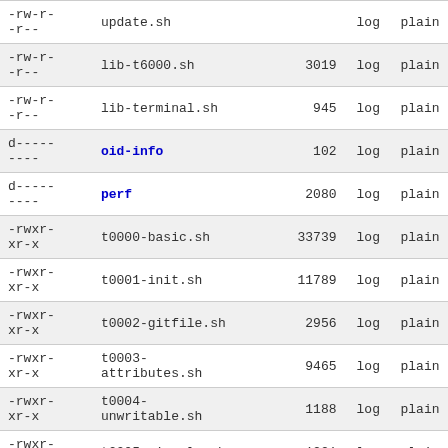| permissions | name | size | log | plain |
| --- | --- | --- | --- | --- |
| -rw-r--r-- | update.sh |  | log | plain |
| -rw-r--r-- | lib-t6000.sh | 3019 | log | plain |
| -rw-r--r-- | lib-terminal.sh | 945 | log | plain |
| d--------- | oid-info | 102 | log | plain |
| d--------- | perf | 2080 | log | plain |
| -rwxr-xr-x | t0000-basic.sh | 33739 | log | plain |
| -rwxr-xr-x | t0001-init.sh | 11789 | log | plain |
| -rwxr-xr-x | t0002-gitfile.sh | 2956 | log | plain |
| -rwxr-xr-x | t0003-attributes.sh | 9465 | log | plain |
| -rwxr-xr-x | t0004-unwritable.sh | 1188 | log | plain |
| -rwxr-xr-x | t0005-signals.sh | 1221 | log | plain |
| -rwxr-xr-x | t0006-date.sh | 5435 | log | plain |
| -rwxr-xr-x | t0007-git-var.sh | 1409 | log | plain |
| -rwxr-xr-x | t0008-ignores.sh | 21838 | log | plain |
| -rwxr- | t0009-prio- | 780 | log | plain |